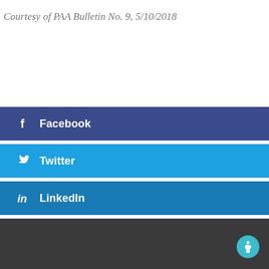Courtesy of PAA Bulletin No. 9, 5/10/2018
[Figure (infographic): Social media share buttons: Facebook (dark blue), Twitter (bright blue), LinkedIn (medium blue), Google+ (red-orange), Like (red) with icons and labels on colored bars]